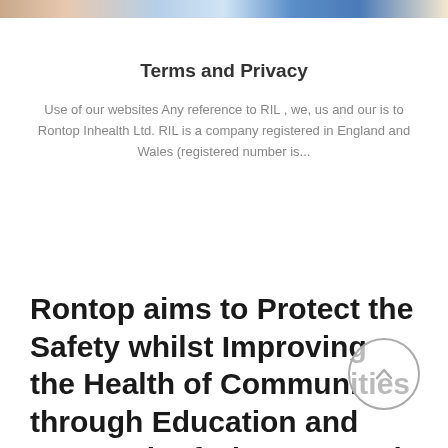[Figure (photo): Cropped image strip at top of page showing partial photos of people and scenes in muted tones]
Terms and Privacy
Use of our websites Any reference to RIL , we, us and our is to Rontop Inhealth Ltd. RIL is a company registered in England and Wales (registered number is...
Rontop aims to Protect the Safety whilst Improving the Health of Communities through Education and Research of Diseases and also working towards the Prevention of